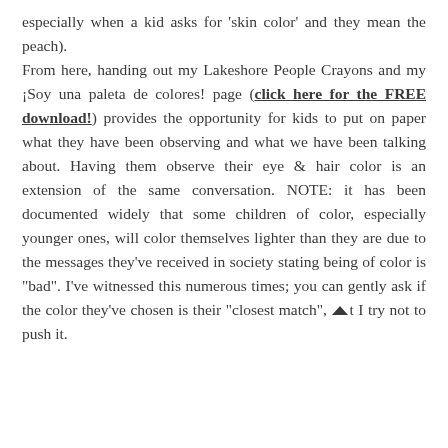especially when a kid asks for 'skin color' and they mean the peach). From here, handing out my Lakeshore People Crayons and my ¡Soy una paleta de colores! page (click here for the FREE download!) provides the opportunity for kids to put on paper what they have been observing and what we have been talking about. Having them observe their eye & hair color is an extension of the same conversation. NOTE: it has been documented widely that some children of color, especially younger ones, will color themselves lighter than they are due to the messages they've received in society stating being of color is "bad". I've witnessed this numerous times; you can gently ask if the color they've chosen is their "closest match", ▲t I try not to push it.